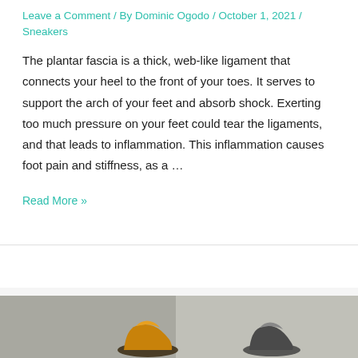Leave a Comment / By Dominic Ogodo / October 1, 2021 / Sneakers
The plantar fascia is a thick, web-like ligament that connects your heel to the front of your toes. It serves to support the arch of your feet and absorb shock. Exerting too much pressure on your feet could tear the ligaments, and that leads to inflammation. This inflammation causes foot pain and stiffness, as a …
Read More »
[Figure (photo): Partial view of a sneaker/shoe photo strip at the bottom of the page, showing two shoes on a gray background]